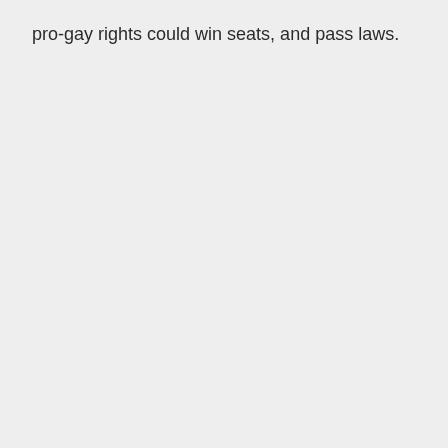pro-gay rights could win seats, and pass laws.